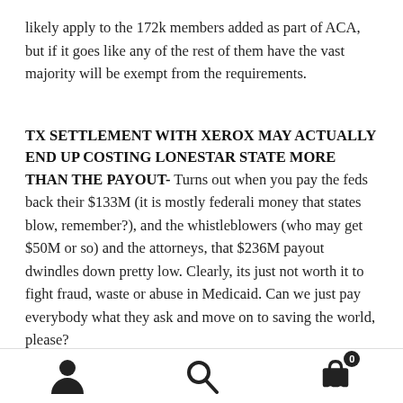likely apply to the 172k members added as part of ACA, but if it goes like any of the rest of them have the vast majority will be exempt from the requirements.
TX SETTLEMENT WITH XEROX MAY ACTUALLY END UP COSTING LONESTAR STATE MORE THAN THE PAYOUT-
Turns out when you pay the feds back their $133M (it is mostly federali money that states blow, remember?), and the whistleblowers (who may get $50M or so) and the attorneys, that $236M payout dwindles down pretty low. Clearly, its just not worth it to fight fraud, waste or abuse in Medicaid. Can we just pay everybody what they ask and move on to saving the world, please?
[Figure (infographic): Footer navigation bar with three icons: person/user icon, search/magnifying glass icon, and shopping cart icon with badge showing '0']